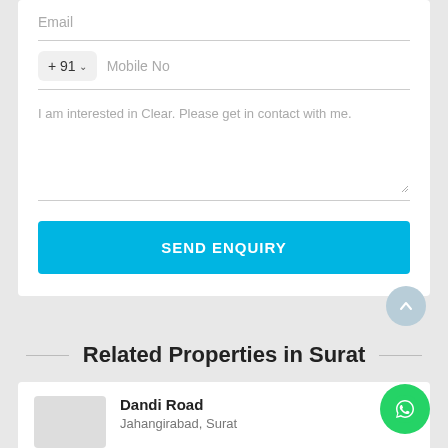Email
Mobile No
I am interested in Clear. Please get in contact with me.
SEND ENQUIRY
Related Properties in Surat
Dandi Road
Jahangirabad, Surat